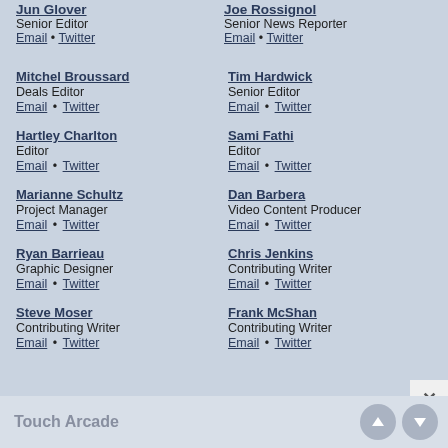Jun Glover
Senior Editor
Email • Twitter
Joe Rossignol
Senior News Reporter
Email • Twitter
Mitchel Broussard
Deals Editor
Email • Twitter
Tim Hardwick
Senior Editor
Email • Twitter
Hartley Charlton
Editor
Email • Twitter
Sami Fathi
Editor
Email • Twitter
Marianne Schultz
Project Manager
Email • Twitter
Dan Barbera
Video Content Producer
Email • Twitter
Ryan Barrieau
Graphic Designer
Email • Twitter
Chris Jenkins
Contributing Writer
Email • Twitter
Steve Moser
Contributing Writer
Email • Twitter
Frank McShan
Contributing Writer
Email • Twitter
Touch Arcade